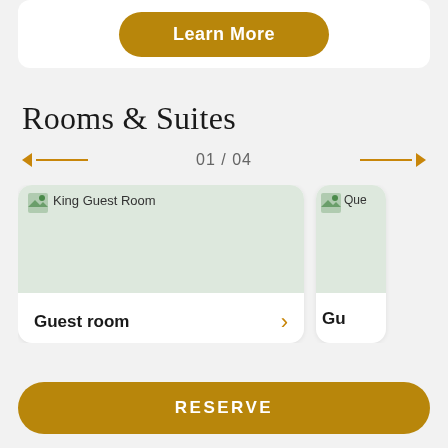[Figure (screenshot): Partial top card with a 'Learn More' button in golden/amber color with rounded pill shape]
Rooms & Suites
01 / 04
[Figure (screenshot): Hotel room card showing 'King Guest Room' image placeholder and 'Guest room' label with a right chevron arrow]
[Figure (screenshot): Partial hotel room card showing 'Que...' image and 'Gu...' label, cut off at right edge]
RESERVE